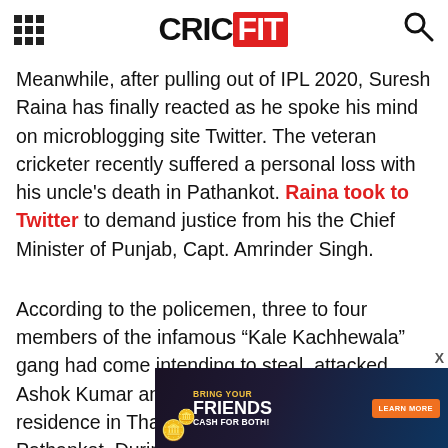CRICFIT
Meanwhile, after pulling out of IPL 2020, Suresh Raina has finally reacted as he spoke his mind on microblogging site Twitter. The veteran cricketer recently suffered a personal loss with his uncle's death in Pathankot. Raina took to Twitter to demand justice from his the Chief Minister of Punjab, Capt. Amrinder Singh.
According to the policemen, three to four members of the infamous “Kale Kachhewala” gang had come intending to steal, attacked Ashok Kumar and his family members at their residence in Thariyal village near Madhopur of Pathankot. During the time of the occurrence, the...
[Figure (other): Advertisement banner: BRING YOUR FRIENDS CASH FOR BOTH! with a Learn More button and coin graphics]